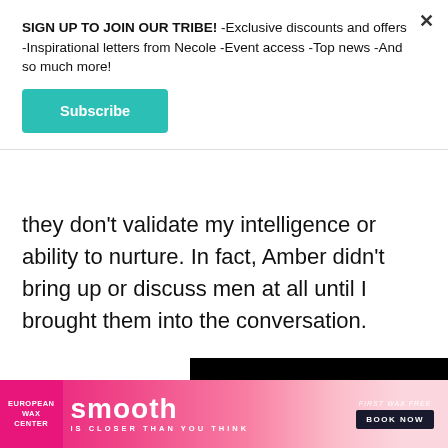SIGN UP TO JOIN OUR TRIBE! -Exclusive discounts and offers -Inspirational letters from Necole -Event access -Top news -And so much more!
[Figure (other): Teal Subscribe button]
they don't validate my intelligence or ability to nurture. In fact, Amber didn't bring up or discuss men at all until I brought them into the conversation.
[Figure (screenshot): Video player loading ad with spinner and playback controls on black background]
[Figure (infographic): European Wax Center advertisement banner. Pink gradient background. smooth IS CLOSER THAN YOU THINK. FIRST WAX FREE. BOOK NOW.]